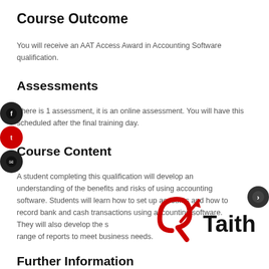Course Outcome
You will receive an AAT Access Award in Accounting Software qualification.
Assessments
There is 1 assessment, it is an online assessment. You will have this scheduled after the final training day.
Course Content
A student completing this qualification will develop an understanding of the benefits and risks of using accounting software. Students will learn how to set up accounts and how to record bank and cash transactions using accounting software. They will also develop the skills to produce a range of reports to meet business needs.
Further Information
For more information on our and details about th
[Figure (logo): Taith logo — stylised red number 9 with an arrow, followed by the word Taith in black bold text]